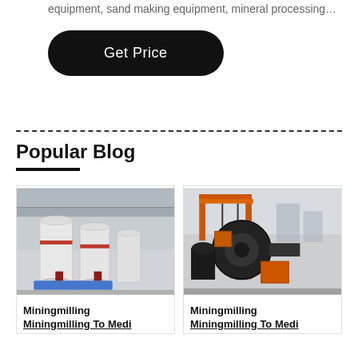equipment, sand making equipment, mineral processing…
[Figure (other): Get Price button - black rounded rectangle button with white text]
Popular Blog
[Figure (photo): Photo of white industrial grinding mill machines in a factory setting]
Miningmilling
Miningmilling To Medi
[Figure (photo): Photo of black industrial equipment with orange crane structure in outdoor factory]
Miningmilling
Miningmilling To Medi